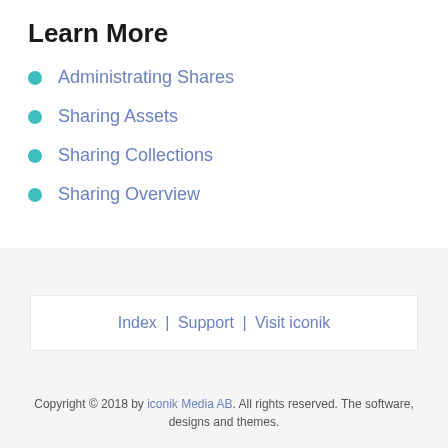Learn More
Administrating Shares
Sharing Assets
Sharing Collections
Sharing Overview
Index | Support | Visit iconik
Copyright © 2018 by iconik Media AB. All rights reserved. The software, designs and themes.